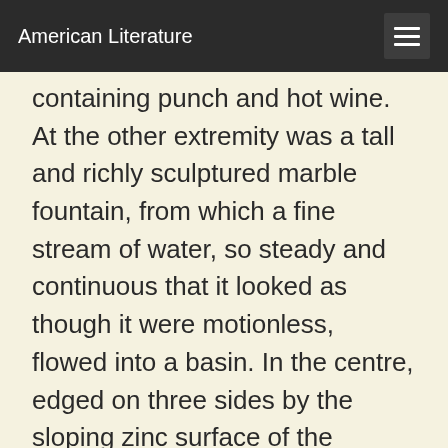American Literature
containing punch and hot wine. At the other extremity was a tall and richly sculptured marble fountain, from which a fine stream of water, so steady and continuous that it looked as though it were motionless, flowed into a basin. In the centre, edged on three sides by the sloping zinc surface of the counter, was a second basin for rinsing and cooling purposes, where quart bottles of draught wine, partially empty, reared their greenish necks. Then on the counter, to the right and left of this central basin, were batches of glasses symmetrically arranged: little glasses for brandy, thick tumblers for draught wine, cup glasses for